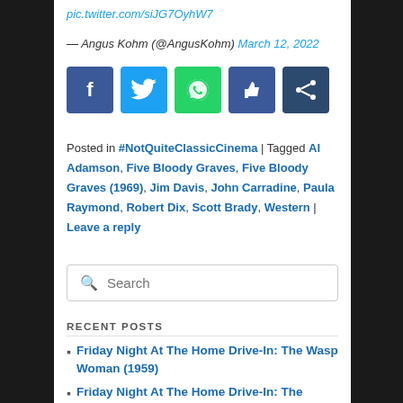pic.twitter.com/siJG7OyhW7
— Angus Kohm (@AngusKohm) March 12, 2022
[Figure (infographic): Social media share buttons: Facebook, Twitter, WhatsApp, Like (thumbs up), Share]
Posted in #NotQuiteClassicCinema | Tagged Al Adamson, Five Bloody Graves, Five Bloody Graves (1969), Jim Davis, John Carradine, Paula Raymond, Robert Dix, Scott Brady, Western | Leave a reply
Search
RECENT POSTS
Friday Night At The Home Drive-In: The Wasp Woman (1959)
Friday Night At The Home Drive-In: The Initiation (1984)
Friday Night At The Home Drive-In: The Giant Gila